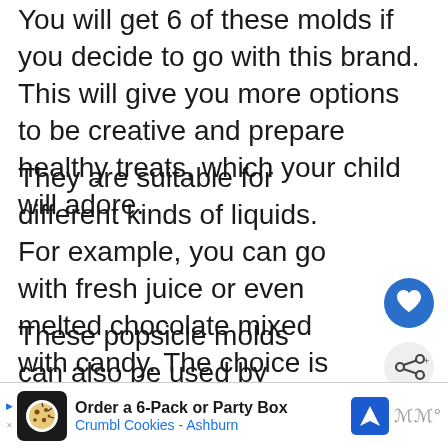You will get 6 of these molds if you decide to go with this brand. This will give you more options to be creative and prepare healthy treats, which your child will adore.
They are suitable for different kinds of liquids. For example, you can go with fresh juice or even melted chocolate mixed with candy. The choice is yours!
[Figure (other): Blue circular heart/favorite button icon]
These popsicle molds can also be used by adults and are thus great for parties or celebrations. Versatility is always a significant advantage when deciding
[Figure (other): Share icon button (circle with sharing arrows)]
[Figure (other): What's Next widget showing 'Best Glue For Pumpkins -...' with an image of a pumpkin and arrow]
[Figure (other): Ad banner: Order a 6-Pack or Party Box - Crumbl Cookies - Ashburn, with cookie logo and navigation icon]